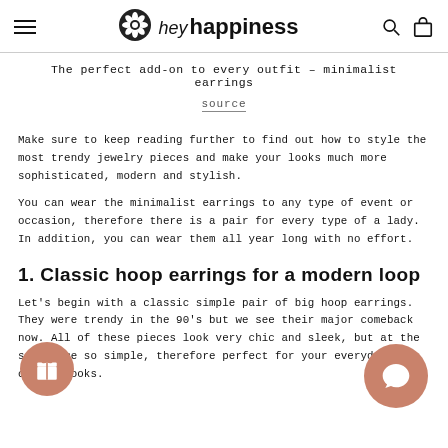hey happiness
The perfect add-on to every outfit – minimalist earrings
source
Make sure to keep reading further to find out how to style the most trendy jewelry pieces and make your looks much more sophisticated, modern and stylish.
You can wear the minimalist earrings to any type of event or occasion, therefore there is a pair for every type of a lady. In addition, you can wear them all year long with no effort.
1. Classic hoop earrings for a modern loop
Let's begin with a classic simple pair of big hoop earrings. They were trendy in the 90's but we see their major comeback now. All of these pieces look very chic and sleek, but at the same time so simple, therefore perfect for your everyday casual looks.